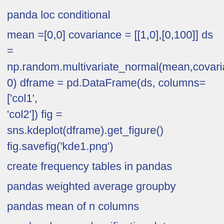panda loc conditional
mean =[0,0] covariance = [[1,0],[0,100]] ds = np.random.multivariate_normal(mean,covariance,500) dframe = pd.DataFrame(ds, columns=['col1', 'col2']) fig = sns.kdeplot(dframe).get_figure() fig.savefig('kde1.png')
create frequency tables in pandas
pandas weighted average groupby
pandas mean of n columns
pandas dummy classification data
range(n,n) python
pandas rolling list
set precision in pandas
what does features = data.drop(["Survived", "Sex"